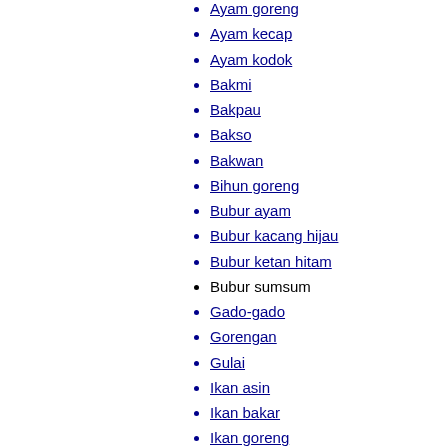Ayam goreng
Ayam kecap
Ayam kodok
Bakmi
Bakpau
Bakso
Bakwan
Bihun goreng
Bubur ayam
Bubur kacang hijau
Bubur ketan hitam
Bubur sumsum
Gado-gado
Gorengan
Gulai
Ikan asin
Ikan bakar
Ikan goreng
Jagung rebus
Kacang rebus
Kari
Kari ayam
Kari domba
Kari kambing
Kari udang